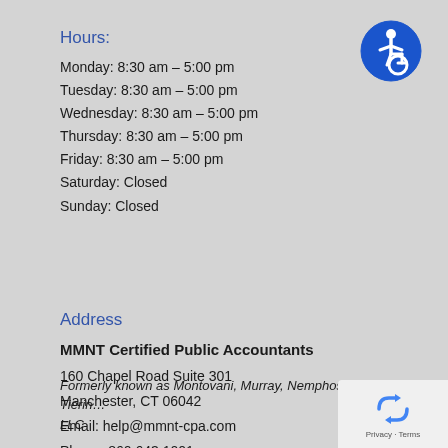Hours:
Monday: 8:30 am – 5:00 pm
Tuesday: 8:30 am – 5:00 pm
Wednesday: 8:30 am – 5:00 pm
Thursday: 8:30 am – 5:00 pm
Friday: 8:30 am – 5:00 pm
Saturday: Closed
Sunday: Closed
[Figure (logo): Accessibility wheelchair icon — blue circle with white wheelchair user symbol]
Address
MMNT Certified Public Accountants
160 Chapel Road Suite 301
Manchester, CT 06042
Email: help@mmnt-cpa.com
Phone: 860.643.1001
Fax: 860.533.0405
Formerly known as Montovani, Murray, Nemphos and Tierino LLC